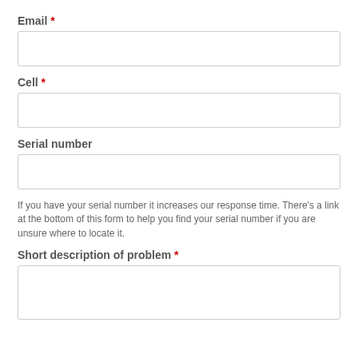Email *
[Email input field]
Cell *
[Cell input field]
Serial number
[Serial number input field]
If you have your serial number it increases our response time. There's a link at the bottom of this form to help you find your serial number if you are unsure where to locate it.
Short description of problem *
[Short description textarea]